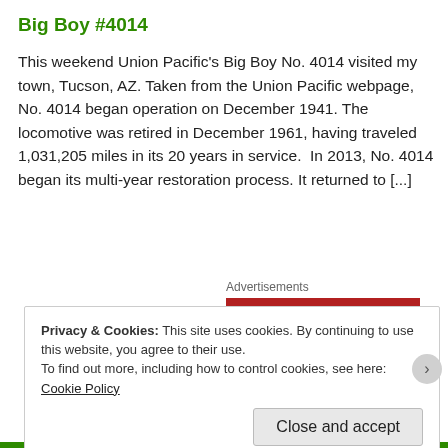Big Boy #4014
This weekend Union Pacific's Big Boy No. 4014 visited my town, Tucson, AZ. Taken from the Union Pacific webpage, No. 4014 began operation on December 1941. The locomotive was retired in December 1961, having traveled 1,031,205 miles in its 20 years in service.  In 2013, No. 4014 began its multi-year restoration process. It returned to [...]
Advertisements
[Figure (logo): Longreads advertisement banner with red background, white circle with L logo and LONGREADS text]
Privacy & Cookies: This site uses cookies. By continuing to use this website, you agree to their use.
To find out more, including how to control cookies, see here: Cookie Policy
Close and accept